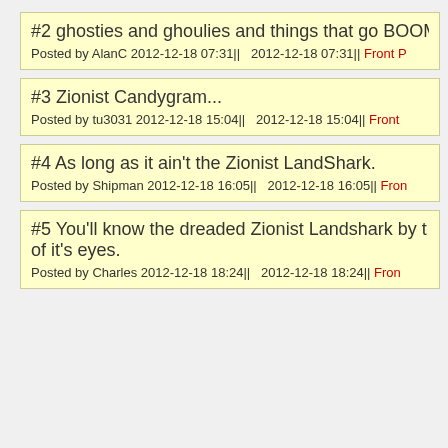#2 ghosties and ghoulies and things that go BOOM
Posted by AlanC 2012-12-18 07:31||   2012-12-18 07:31|| Front P
#3 Zionist Candygram...
Posted by tu3031 2012-12-18 15:04||   2012-12-18 15:04|| Front
#4 As long as it ain't the Zionist LandShark.
Posted by Shipman 2012-12-18 16:05||   2012-12-18 16:05|| Fron
#5 You'll know the dreaded Zionist Landshark by t of it's eyes.
Posted by Charles 2012-12-18 18:24||   2012-12-18 18:24|| Fron